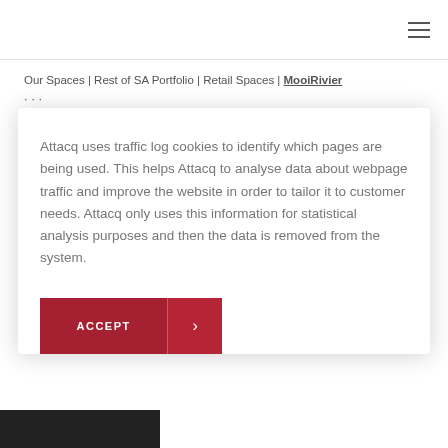Navigation bar with hamburger menu icon
Our Spaces | Rest of SA Portfolio | Retail Spaces | MooiRivier Mall
Attacq uses traffic log cookies to identify which pages are being used. This helps Attacq to analyse data about webpage traffic and improve the website in order to tailor it to customer needs. Attacq only uses this information for statistical analysis purposes and then the data is removed from the system.
ACCEPT